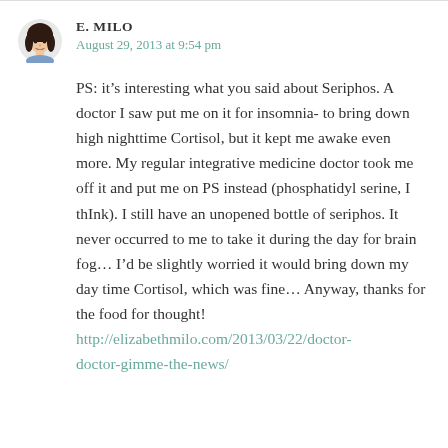[Figure (illustration): Cartoon avatar of a woman with dark hair, small round face, used as commenter profile picture]
E. MILO
August 29, 2013 at 9:54 pm
PS: it’s interesting what you said about Seriphos. A doctor I saw put me on it for insomnia- to bring down high nighttime Cortisol, but it kept me awake even more. My regular integrative medicine doctor took me off it and put me on PS instead (phosphatidyl serine, I thInk). I still have an unopened bottle of seriphos. It never occurred to me to take it during the day for brain fog… I’d be slightly worried it would bring down my day time Cortisol, which was fine… Anyway, thanks for the food for thought!
http://elizabethmilo.com/2013/03/22/doctor-doctor-gimme-the-news/